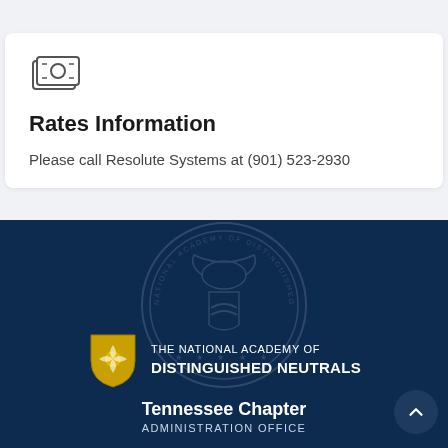[Figure (illustration): Money/currency icon — stacked banknotes with circle detail]
Rates Information
Please call Resolute Systems at (901) 523-2930
[Figure (logo): Circular watermark seal of the National Academy of Distinguished Neutrals, eagle and handshake emblem, muted on dark blue background]
[Figure (logo): The National Academy of Distinguished Neutrals logo: golden shield with floral emblem on left, organization name in white uppercase text on right]
Tennessee Chapter
ADMINISTRATION OFFICE